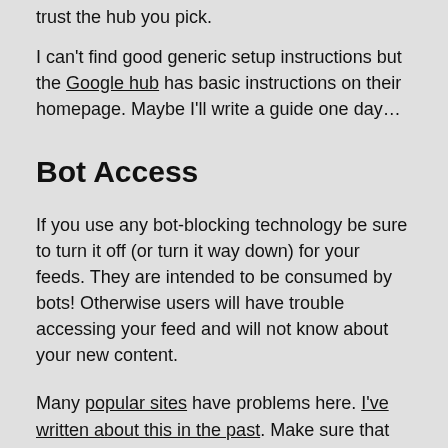trust the hub you pick.
I can't find good generic setup instructions but the Google hub has basic instructions on their homepage. Maybe I'll write a guide one day…
Bot Access
If you use any bot-blocking technology be sure to turn it off (or turn it way down) for your feeds. They are intended to be consumed by bots! Otherwise users will have trouble accessing your feed and will not know about your new content.
Many popular sites have problems here. I've written about this in the past. Make sure that you aren't hurt by defaults of various services.
Categories
Categories are a reliable way to filter items in feeds. It is far better to let someone subscribe for one category—or all categories but one—than to lose a subscriber because they were annoyed by a subset of your content.